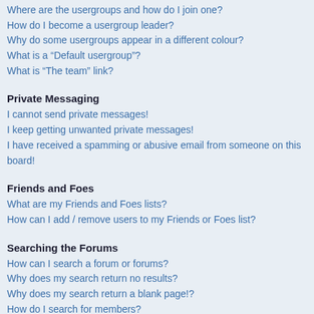Where are the usergroups and how do I join one?
How do I become a usergroup leader?
Why do some usergroups appear in a different colour?
What is a “Default usergroup”?
What is “The team” link?
Private Messaging
I cannot send private messages!
I keep getting unwanted private messages!
I have received a spamming or abusive email from someone on this board!
Friends and Foes
What are my Friends and Foes lists?
How can I add / remove users to my Friends or Foes list?
Searching the Forums
How can I search a forum or forums?
Why does my search return no results?
Why does my search return a blank page!?
How do I search for members?
How can I find my own posts and topics?
Subscriptions and Bookmarks
What is the difference between bookmarking and subscribing?
How do I bookmark or subscribe to specific topics?